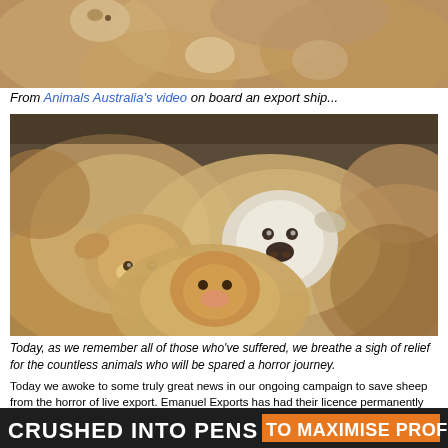[Figure (photo): Close-up photo of sheep crowded together on an export ship, showing their woolly bodies from above]
From Animals Australia's video on board an export ship...
[Figure (photo): Close-up photograph of multiple sheep faces looking at the camera, crowded together, with soft focus background]
Today, as we remember all of those who've suffered, we breathe a sigh of relief for the countless animals who will be spared a horror journey.
Today we awoke to some truly great news in our ongoing campaign to save sheep from the horror of live export. Emanuel Exports has had their licence permanently cancelled by the regulator. One of the world's largest exporters of animals will no longer be able to operate.
[Figure (infographic): Dark banner image with bold white text reading 'CRUSHED INTO PENS' and orange highlighted text 'TO MAXIMISE PROFIT']